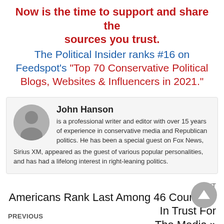Now is the time to support and share the sources you trust. The Political Insider ranks #16 on Feedspot's "Top 70 Conservative Political Blogs, Websites & Influencers in 2021."
John Hanson is a professional writer and editor with over 15 years of experience in conservative media and Republican politics. He has been a special guest on Fox News, Sirius XM, appeared as the guest of various popular personalities, and has had a lifelong interest in right-leaning politics.
NEXT
Americans Rank Last Among 46 Countries In Trust For The Media »
PREVIOUS